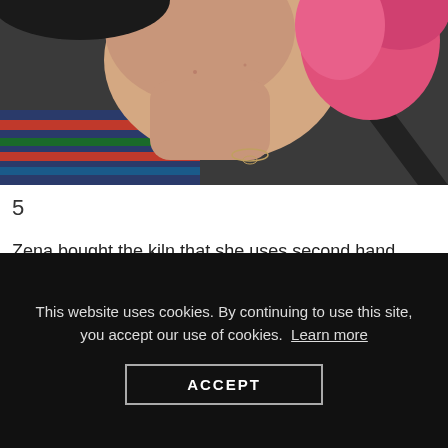[Figure (photo): Close-up photo of a person with pink hair wearing a striped blue and red top and a delicate necklace, photographed from chin down to upper chest, car seat belt visible in background.]
5
Zena bought the kiln that she uses second hand, saving even more moneyCredit: westartandglass/Instagram
This website uses cookies. By continuing to use this site, you accept our use of cookies. Learn more
ACCEPT